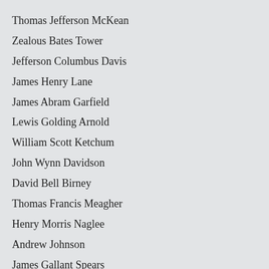Thomas Jefferson McKean
Zealous Bates Tower
Jefferson Columbus Davis
James Henry Lane
James Abram Garfield
Lewis Golding Arnold
William Scott Ketchum
John Wynn Davidson
David Bell Birney
Thomas Francis Meagher
Henry Morris Naglee
Andrew Johnson
James Gallant Spears
Eugene Asa Carr